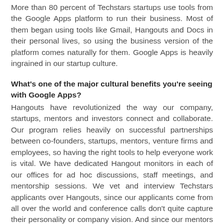More than 80 percent of Techstars startups use tools from the Google Apps platform to run their business. Most of them began using tools like Gmail, Hangouts and Docs in their personal lives, so using the business version of the platform comes naturally for them. Google Apps is heavily ingrained in our startup culture.
What's one of the major cultural benefits you're seeing with Google Apps?
Hangouts have revolutionized the way our company, startups, mentors and investors connect and collaborate. Our program relies heavily on successful partnerships between co-founders, startups, mentors, venture firms and employees, so having the right tools to help everyone work is vital. We have dedicated Hangout monitors in each of our offices for ad hoc discussions, staff meetings, and mentorship sessions. We vet and interview Techstars applicants over Hangouts, since our applicants come from all over the world and conference calls don't quite capture their personality or company vision. And since our mentors are just as spread out as our applicants, we use Hangouts to connect them with the startups they're advising.